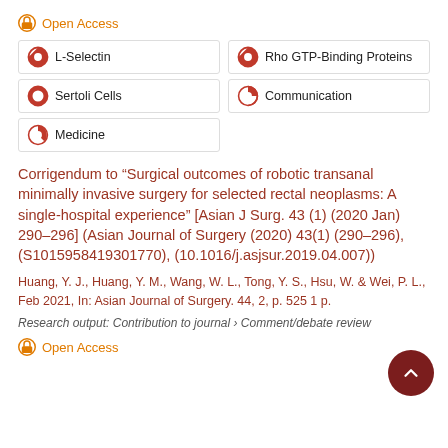Open Access
L-Selectin
Rho GTP-Binding Proteins
Sertoli Cells
Communication
Medicine
Corrigendum to “Surgical outcomes of robotic transanal minimally invasive surgery for selected rectal neoplasms: A single-hospital experience” [Asian J Surg. 43 (1) (2020 Jan) 290–296] (Asian Journal of Surgery (2020) 43(1) (290–296), (S1015958419301770), (10.1016/j.asjsur.2019.04.007))
Huang, Y. J., Huang, Y. M., Wang, W. L., Tong, Y. S., Hsu, W. & Wei, P. L., Feb 2021, In: Asian Journal of Surgery. 44, 2, p. 525 1 p.
Research output: Contribution to journal › Comment/debate review
Open Access